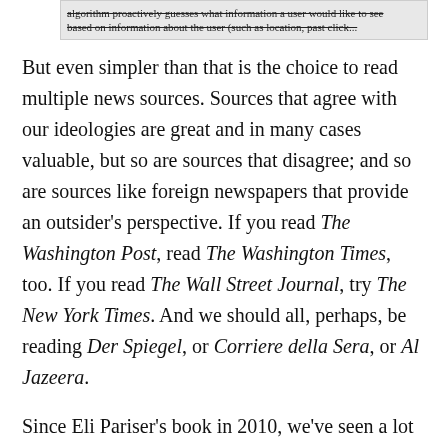[Figure (screenshot): Partially visible screenshot of text about an algorithm that proactively guesses what information a user would like to see based on information about the user (such as location, past click...)]
But even simpler than that is the choice to read multiple news sources. Sources that agree with our ideologies are great and in many cases valuable, but so are sources that disagree; and so are sources like foreign newspapers that provide an outsider's perspective. If you read The Washington Post, read The Washington Times, too. If you read The Wall Street Journal, try The New York Times. And we should all, perhaps, be reading Der Spiegel, or Corriere della Sera, or Al Jazeera.
Since Eli Pariser's book in 2010, we've seen a lot of writing about ways to improve technology to combat bubbling. And yes, that is important. But for the sake of civility, the simple act of diversity